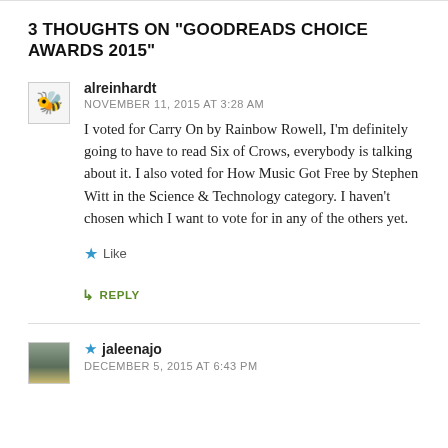3 THOUGHTS ON "GOODREADS CHOICE AWARDS 2015"
alreinhardt
NOVEMBER 11, 2015 AT 3:28 AM
I voted for Carry On by Rainbow Rowell, I’m definitely going to have to read Six of Crows, everybody is talking about it. I also voted for How Music Got Free by Stephen Witt in the Science & Technology category. I haven’t chosen which I want to vote for in any of the others yet.
Like
REPLY
jaleenajo
DECEMBER 5, 2015 AT 6:43 PM